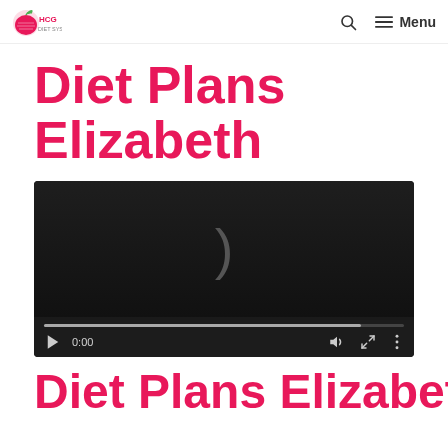HCG Diet System — Menu navigation
Diet Plans Elizabeth
[Figure (screenshot): Embedded HTML5 video player showing a dark background with a parenthesis shape visible, playback controls at bottom showing 0:00 timestamp, play button, mute, fullscreen and more options icons, with a progress bar.]
Diet Plans Elizabeth